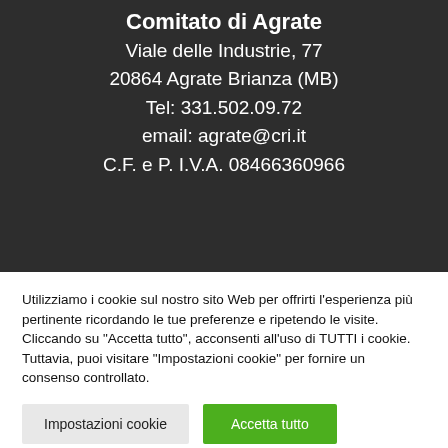Comitato di Agrate
Viale delle Industrie, 77
20864 Agrate Brianza (MB)
Tel: 331.502.09.72
email: agrate@cri.it
C.F. e P. I.V.A. 08466360966
Utilizziamo i cookie sul nostro sito Web per offrirti l'esperienza più pertinente ricordando le tue preferenze e ripetendo le visite. Cliccando su "Accetta tutto", acconsenti all'uso di TUTTI i cookie. Tuttavia, puoi visitare "Impostazioni cookie" per fornire un consenso controllato.
Impostazioni cookie | Accetta tutto